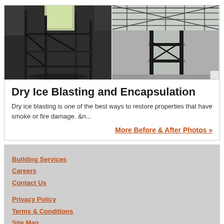[Figure (photo): Two before/after photos of a building interior showing scaffolding and fire/smoke damage treatment with dry ice blasting]
Dry Ice Blasting and Encapsulation
Dry ice blasting is one of the best ways to restore properties that have smoke or fire damage. &n...
More Before & After Photos »
Building Services
Careers
Contact Us
Privacy Policy
Terms & Conditions
Site Map
Visit our corporate site
SERVPRO of Lake County
P: (352) 735-3311